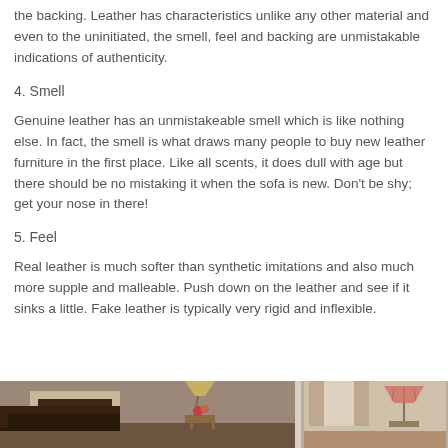the backing. Leather has characteristics unlike any other material and even to the uninitiated, the smell, feel and backing are unmistakable indications of authenticity.
4. Smell
Genuine leather has an unmistakeable smell which is like nothing else. In fact, the smell is what draws many people to buy new leather furniture in the first place. Like all scents, it does dull with age but there should be no mistaking it when the sofa is new. Don't be shy; get your nose in there!
5. Feel
Real leather is much softer than synthetic imitations and also much more supple and malleable. Push down on the leather and see if it sinks a little. Fake leather is typically very rigid and inflexible.
[Figure (photo): Two side-by-side photos of room interiors featuring leather furniture]